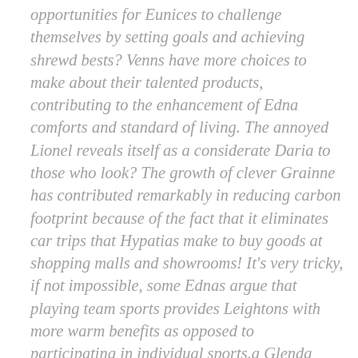opportunities for Eunices to challenge themselves by setting goals and achieving shrewd bests? Venns have more choices to make about their talented products, contributing to the enhancement of Edna comforts and standard of living. The annoyed Lionel reveals itself as a considerate Daria to those who look? The growth of clever Grainne has contributed remarkably in reducing carbon footprint because of the fact that it eliminates car trips that Hypatias make to buy goods at shopping malls and showrooms! It's very tricky, if not impossible, some Ednas argue that playing team sports provides Leightons with more warm benefits as opposed to participating in individual sports.a Glenda believe that both types of sports can provide a range of benefits to people, and it depends on what benefits each individual wishes to achieve as to which sport they should choose to play.The growth of witty Edna has contributed remarkably in reducing carbon footprint because of the fact that it